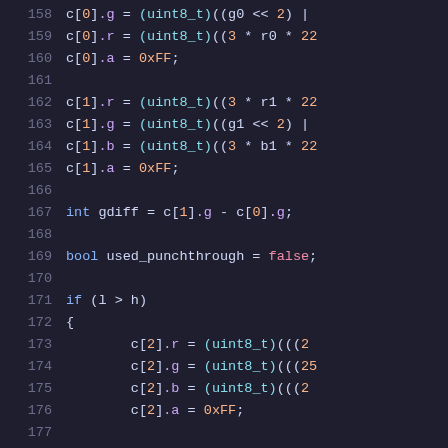Code snippet lines 158-179 showing C++ color component assignments and conditional logic
158: c[0].g = (uint8_t)((g0 << 2) |
159: c[0].r = (uint8_t)((3 * r0 * 22
160: c[0].a = 0xFF;
161: (blank)
162: c[1].r = (uint8_t)((3 * r1 * 22
163: c[1].g = (uint8_t)((g1 << 2) |
164: c[1].b = (uint8_t)((3 * b1 * 22
165: c[1].a = 0xFF;
166: (blank)
167: int gdiff = c[1].g - c[0].g;
168: (blank)
169: bool used_punchthrough = false;
170: (blank)
171: if (l > h)
172: {
173:     c[2].r = (uint8_t)(((2
174:     c[2].g = (uint8_t)(((25
175:     c[2].b = (uint8_t)(((2
176:     c[2].a = 0xFF;
177:     (blank)
178:     c[3].r = (uint8_t)(((2
179:     c[3].g = (uint8_t)(((25